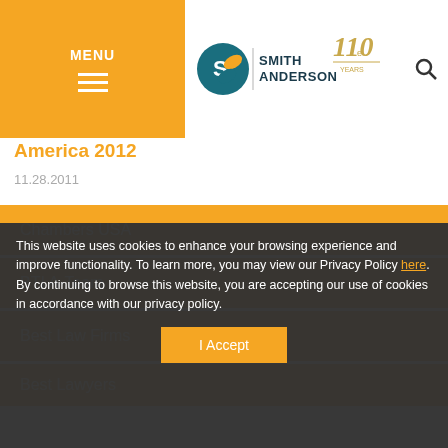MENU | Smith Anderson 110 Years Logo | Search
Anderson Ranked with Most Recognized Best Lawyers in America 2012
11.28.2011
Chambers USA
BTI A-Team
Best Law Firms
Best Lawyers
This website uses cookies to enhance your browsing experience and improve functionality. To learn more, you may view our Privacy Policy here. By continuing to browse this website, you are accepting our use of cookies in accordance with our privacy policy.
I Accept